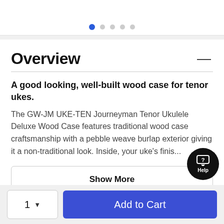[Figure (other): Carousel navigation dots — one active blue dot followed by four grey dots]
Overview
A good looking, well-built wood case for tenor ukes.
The GW-JM UKE-TEN Journeyman Tenor Ukulele Deluxe Wood Case features traditional wood case craftsmanship with a pebble weave burlap exterior giving it a non-traditional look. Inside, your uke's finis...
Show More
Help
1  Add to Cart